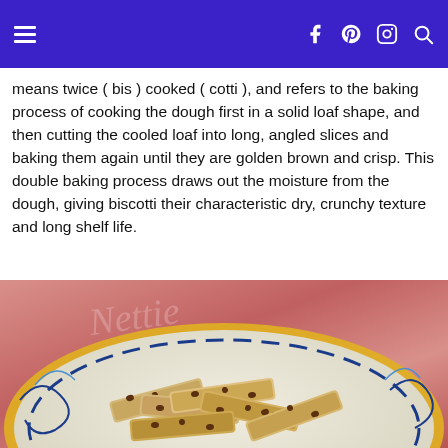≡  f  ⊕  ⊡  🔍
means twice ( bis ) cooked ( cotti ), and refers to the baking process of cooking the dough first in a solid loaf shape, and then cutting the cooled loaf into long, angled slices and baking them again until they are golden brown and crisp. This double baking process draws out the moisture from the dough, giving biscotti their characteristic dry, crunchy texture and long shelf life.
[Figure (photo): A decorative Italian ceramic plate with blue and yellow floral patterns, filled with biscotti cookies, placed on a pink fabric background with a cursive print.]